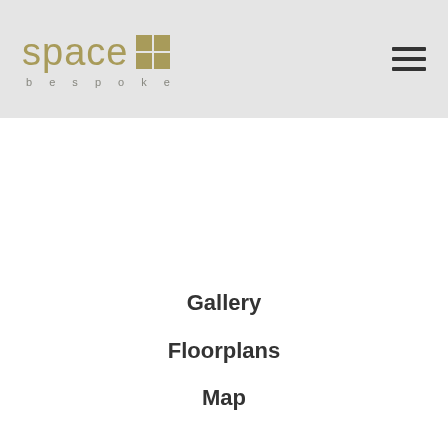[Figure (logo): Space Bespoke logo with gold text 'space', a 2x2 gold grid square icon, and 'bespoke' in spaced small caps below]
[Figure (other): Hamburger menu icon — three horizontal dark bars]
Gallery
Floorplans
Map